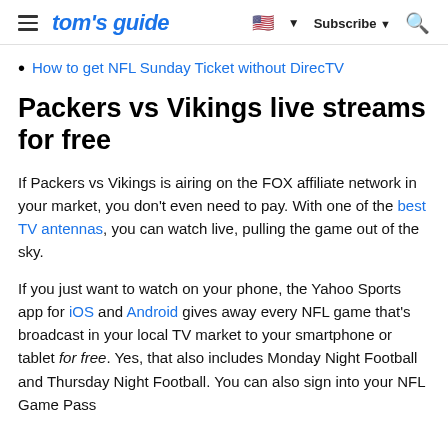tom's guide | Subscribe | Search
How to get NFL Sunday Ticket without DirecTV
Packers vs Vikings live streams for free
If Packers vs Vikings is airing on the FOX affiliate network in your market, you don't even need to pay. With one of the best TV antennas, you can watch live, pulling the game out of the sky.
If you just want to watch on your phone, the Yahoo Sports app for iOS and Android gives away every NFL game that's broadcast in your local TV market to your smartphone or tablet for free. Yes, that also includes Monday Night Football and Thursday Night Football. You can also sign into your NFL Game Pass